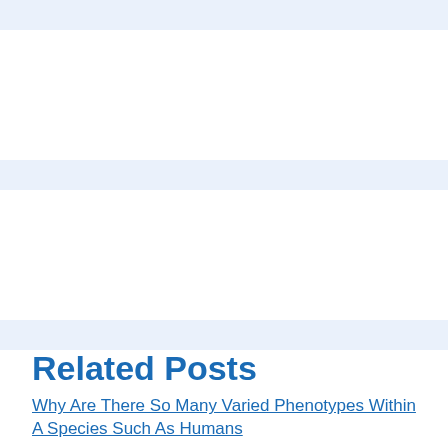Related Posts
Why Are There So Many Varied Phenotypes Within A Species Such As Humans
What is a Bear Hug?
How Exercise Can Positively Affect Y...